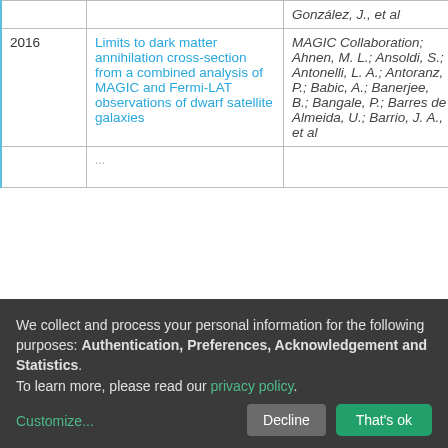| Year | Title | Authors | Access |
| --- | --- | --- | --- |
|  | González, J., et al |  |  |
| 2016 | Limits to dark matter annihilation cross-section from a combined analysis of MAGIC and Fermi-LAT observations of dwarf satellite galaxies | MAGIC Collaboration; Ahnen, M. L.; Ansoldi, S.; Antonelli, L. A.; Antoranz, P.; Babic, A.; Banerjee, B.; Bangale, P.; Barres de Almeida, U.; Barrio, J. A., et al | open |
|  | ... |  |  |
We collect and process your personal information for the following purposes: Authentication, Preferences, Acknowledgement and Statistics. To learn more, please read our privacy policy.